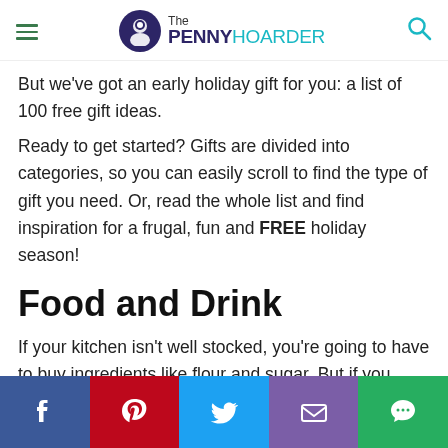The PENNY HOARDER
But we've got an early holiday gift for you: a list of 100 free gift ideas.
Ready to get started? Gifts are divided into categories, so you can easily scroll to find the type of gift you need. Or, read the whole list and find inspiration for a frugal, fun and FREE holiday season!
Food and Drink
If your kitchen isn't well stocked, you're going to have to buy ingredients like flour and sugar. But if you already have the supplies, you can make a lot of free gifts from what's in your pantry.
[Figure (infographic): Social sharing bar with Facebook, Pinterest, Twitter, email, and chat buttons]